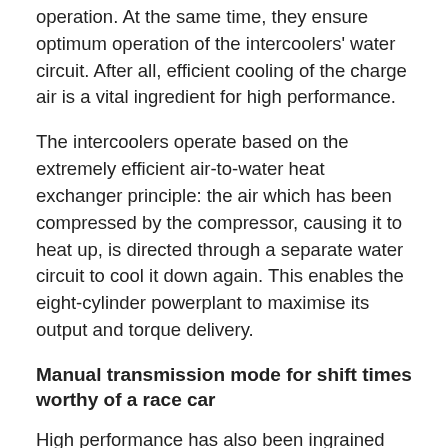operation. At the same time, they ensure optimum operation of the intercoolers' water circuit. After all, efficient cooling of the charge air is a vital ingredient for high performance.
The intercoolers operate based on the extremely efficient air-to-water heat exchanger principle: the air which has been compressed by the compressor, causing it to heat up, is directed through a separate water circuit to cool it down again. This enables the eight-cylinder powerplant to maximise its output and torque delivery.
Manual transmission mode for shift times worthy of a race car
High performance has also been ingrained into the five-speed automatic transmission, which was developed in-house at Mercedes-Benz and has already featured in a number of exceptionally powerful models. It has been